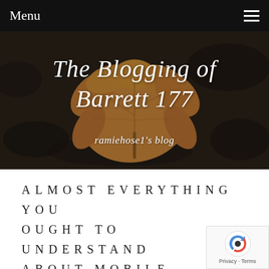Menu
[Figure (photo): Hero banner image showing a dried autumn leaf on dark ground, with cursive white text 'The Blogging of Barrett 177' and subtitle 'ramiehose1’s blog']
ALMOST EVERYTHING YOU OUGHT TO UNDERSTAND ABOUT MOBILE PHONES
October 27, 2019
Looking for Information About Cell Phones? You Should Read This Write-